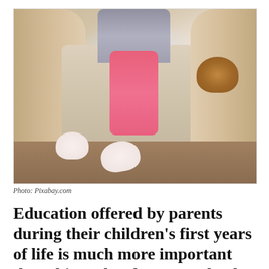[Figure (photo): A young child sitting on a beige sofa wearing pink leggings and bunny slippers, holding a small brown puppy, photographed from the waist down.]
Photo: Pixabay.com
Education offered by parents during their children’s first years of life is much more important than things they learn at school, as far as the